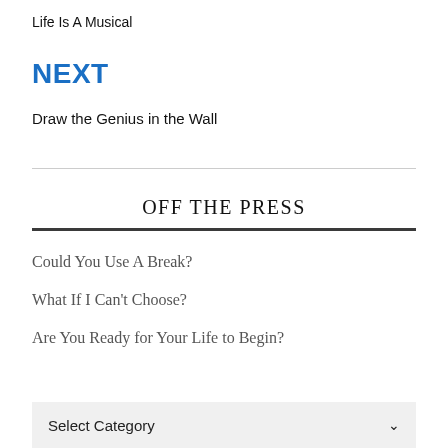Life Is A Musical
NEXT
Draw the Genius in the Wall
OFF THE PRESS
Could You Use A Break?
What If I Can't Choose?
Are You Ready for Your Life to Begin?
Select Category